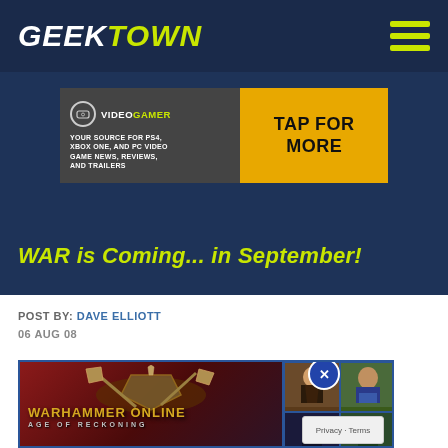GEEKTOWN
[Figure (screenshot): VideoGamer advertisement banner: logo with controller icon, tagline 'YOUR SOURCE FOR PS4, XBOX ONE, AND PC VIDEO GAME NEWS, REVIEWS, AND TRAILERS', yellow 'TAP FOR MORE' button]
WAR is Coming... in September!
POST BY: DAVE ELLIOTT
06 AUG 08
[Figure (screenshot): Warhammer Online: Age of Reckoning game artwork showing weapons and character images]